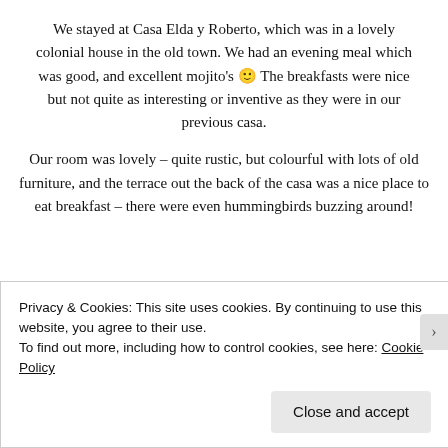We stayed at Casa Elda y Roberto, which was in a lovely colonial house in the old town. We had an evening meal which was good, and excellent mojito's 🙂 The breakfasts were nice but not quite as interesting or inventive as they were in our previous casa.
Our room was lovely – quite rustic, but colourful with lots of old furniture, and the terrace out the back of the casa was a nice place to eat breakfast – there were even hummingbirds buzzing around!
[Figure (photo): A photo of a room interior showing two teal/green painted doors or cabinets against a white wall, with a ceiling visible at top.]
Privacy & Cookies: This site uses cookies. By continuing to use this website, you agree to their use.
To find out more, including how to control cookies, see here: Cookie Policy
Close and accept